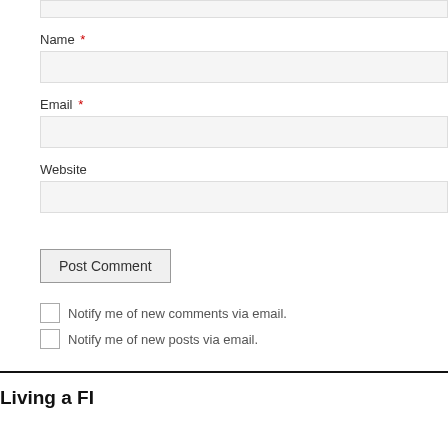Name *
Email *
Website
Post Comment
Notify me of new comments via email.
Notify me of new posts via email.
Living a FI